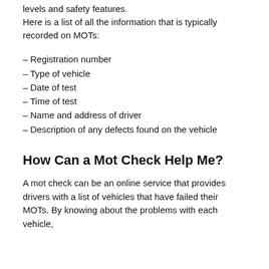levels and safety features.
Here is a list of all the information that is typically recorded on MOTs:
– Registration number
– Type of vehicle
– Date of test
– Time of test
– Name and address of driver
– Description of any defects found on the vehicle
How Can a Mot Check Help Me?
A mot check can be an online service that provides drivers with a list of vehicles that have failed their MOTs. By knowing about the problems with each vehicle,